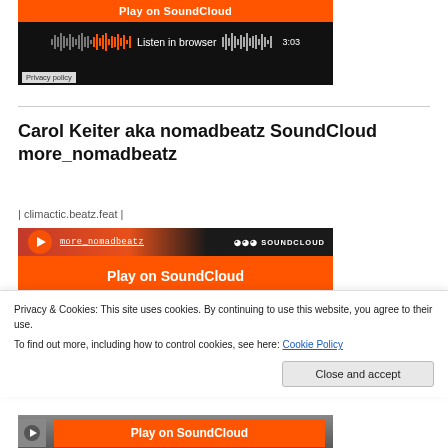[Figure (screenshot): SoundCloud embedded player showing 'Play on SoundCloud' orange button, waveform visualization with 'Listen in browser' text and 3:03 timestamp, dark background with road image, and 'Privacy policy' button at bottom left]
Carol Keiter aka nomadbeatz SoundCloud more_nomadbeatz
| climactic.beatz.feat |
[Figure (screenshot): SoundCloud embedded player showing more_nomadbeatz track with SoundCloud logo header bar, and orange 'Play on SoundCloud' button]
Privacy & Cookies: This site uses cookies. By continuing to use this website, you agree to their use.
To find out more, including how to control cookies, see here: Cookie Policy
Close and accept
[Figure (screenshot): Bottom of another SoundCloud embedded player showing 'Play on SoundCloud' orange button partially visible]